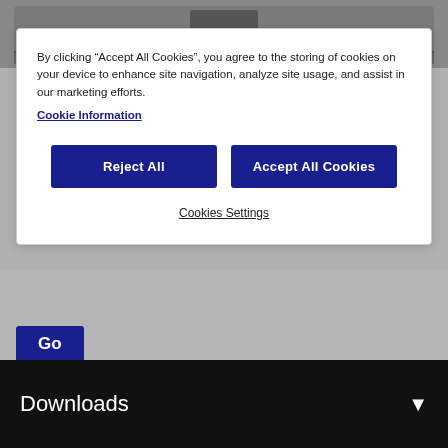[Figure (screenshot): Top portion of a device/printer hardware image with gray casing, partially visible]
By clicking “Accept All Cookies”, you agree to the storing of cookies on your device to enhance site navigation, analyze site usage, and assist in our marketing efforts.
Cookie Information
[Figure (screenshot): Reject All button - dark blue rectangular button with white bold text]
[Figure (screenshot): Accept All Cookies button - dark blue rectangular button with white bold text]
Cookies Settings
[Figure (screenshot): Go button - dark blue rectangular button with white text on gray background]
Attention: Your operating system may not be detected correctly. It is important that you manually select your Operating System from above to ensure you are viewing compatible content.
Downloads